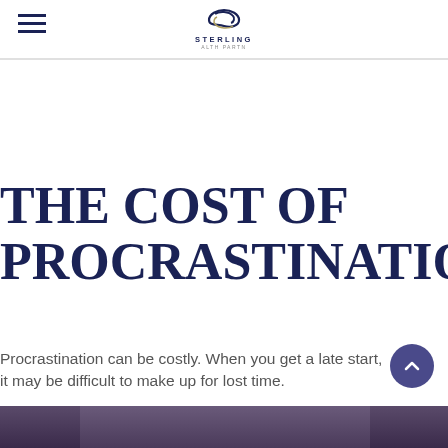Sterling Health Partners (logo/navigation header)
THE COST OF PROCRASTINATION
Procrastination can be costly. When you get a late start, it may be difficult to make up for lost time.